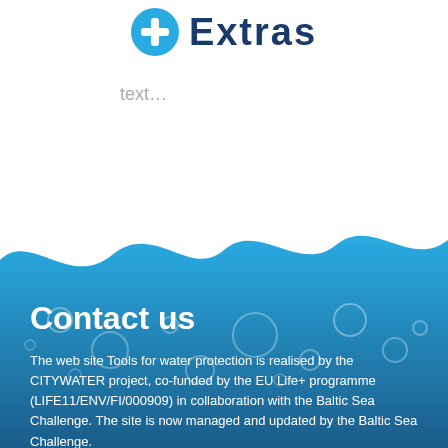[Figure (illustration): Blue circular plus/cross icon with 'Extras' text in dark blue bold font beside it]
text…
[Figure (illustration): Wave-shaped transition from white to blue water background with bubble circles]
Contact us
The web site Tools for water protection is realised by the CITYWATER project, co-funded by the EU Life+ programme (LIFE11/ENV/FI/000909) in collaboration with the Baltic Sea Challenge. The site is now managed and updated by the Baltic Sea Challenge.
Contact us, give feedback or report a problem
Baltic Sea Challenge coordinators